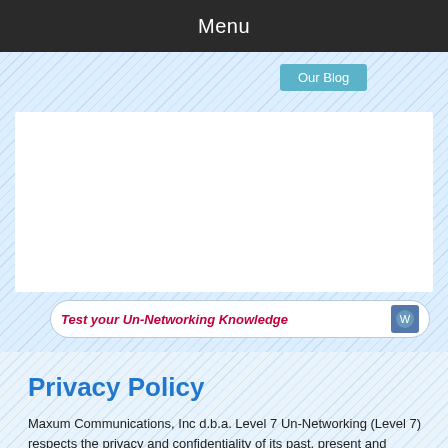Menu
[Figure (screenshot): Navigation area with 'Our Blog' button and diagonal striped blue background, white content box, and partially visible quiz bar reading 'Test your Un-Networking Knowledge']
Privacy Policy
Maxum Communications, Inc d.b.a. Level 7 Un-Networking (Level 7) respects the privacy and confidentiality of its past, present and potential future clients. Any inquires made of Level 7 via this Site and/or Service will be treated